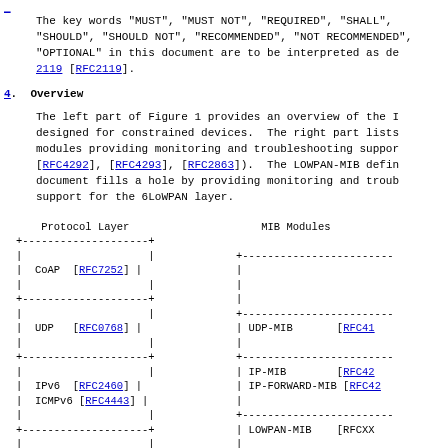_
The key words "MUST", "MUST NOT", "REQUIRED", "SHALL", "SHOULD", "SHOULD NOT", "RECOMMENDED", "NOT RECOMMENDED", "OPTIONAL" in this document are to be interpreted as de 2119 [RFC2119].
4.  Overview
The left part of Figure 1 provides an overview of the I designed for constrained devices.  The right part lists modules providing monitoring and troubleshooting suppor [RFC4292], [RFC4293], [RFC2863]).  The LOWPAN-MIB defin document fills a hole by providing monitoring and troub support for the 6LoWPAN layer.
[Figure (schematic): Protocol layer diagram showing CoAP, UDP, IPv6/ICMPv6, 6LoWPAN, IEEE 802.15.4 on the left and MIB Modules (UDP-MIB, IP-MIB, IP-FORWARD-MIB, LOWPAN-MIB, IF-MIB) with RFC references on the right]